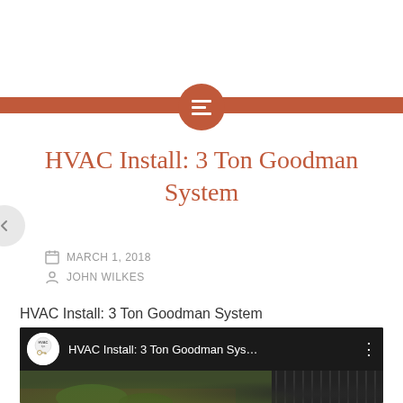HVAC Install: 3 Ton Goodman System
MARCH 1, 2018
JOHN WILKES
HVAC Install: 3 Ton Goodman System
[Figure (screenshot): YouTube video embed showing HVAC Install: 3 Ton Goodman System with HVAC Tips channel logo, video title truncated as 'HVAC Install: 3 Ton Goodman Sys...' and a thumbnail showing an outdoor HVAC condenser unit]